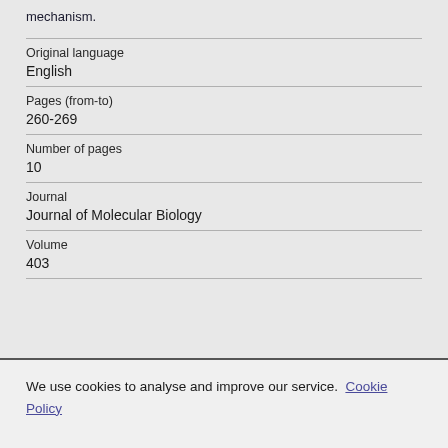mechanism.
| Original language | English |
| Pages (from-to) | 260-269 |
| Number of pages | 10 |
| Journal | Journal of Molecular Biology |
| Volume | 403 |
We use cookies to analyse and improve our service. Cookie Policy